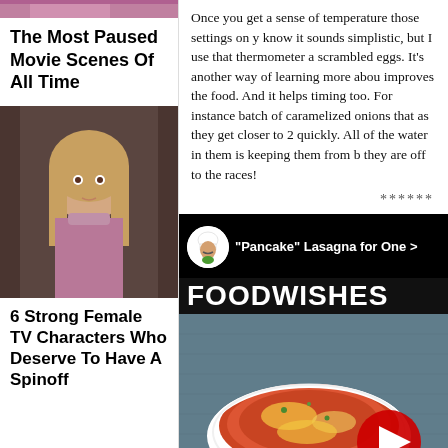[Figure (photo): Partial image of a person with pink/magenta clothing at top of left column]
The Most Paused Movie Scenes Of All Time
[Figure (photo): Portrait photo of a young blonde girl looking surprised, from a TV show]
6 Strong Female TV Characters Who Deserve To Have A Spinoff
Once you get a sense of temperature those settings on y know it sounds simplistic, but I use that thermometer a scrambled eggs. It's another way of learning more abou improves the food. And it helps timing too. For instance batch of caramelized onions that as they get closer to 2 quickly. All of the water in them is keeping them from b they are off to the races!
******
[Figure (screenshot): YouTube video thumbnail for 'Pancake' Lasagna for One by Food Wishes channel, showing a dish of lasagna with tomato sauce and cheese in a white baking dish, with a red YouTube play button overlay]